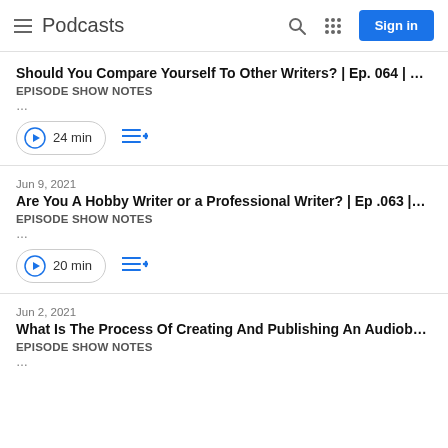Podcasts
Should You Compare Yourself To Other Writers? | Ep. 064 | ...
EPISODE SHOW NOTES
...
24 min
Jun 9, 2021
Are You A Hobby Writer or a Professional Writer? | Ep .063 |...
EPISODE SHOW NOTES
...
20 min
Jun 2, 2021
What Is The Process Of Creating And Publishing An Audiob...
EPISODE SHOW NOTES
...